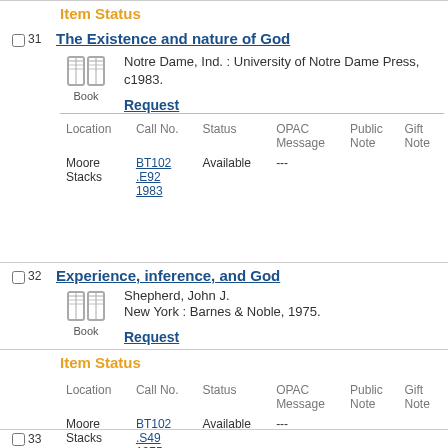Item Status
31
The Existence and nature of God
Notre Dame, Ind. : University of Notre Dame Press, c1983.
Request
| Location | Call No. | Status | OPAC Message | Public Note | Gift Note |
| --- | --- | --- | --- | --- | --- |
| Moore Stacks | BT102 .E92 1983 | Available | --- |  |  |
Item Status
32
Experience, inference, and God
Shepherd, John J.
New York : Barnes & Noble, 1975.
Request
| Location | Call No. | Status | OPAC Message | Public Note | Gift Note |
| --- | --- | --- | --- | --- | --- |
| Moore Stacks | BT102 .S49 1975 | Available | --- |  |  |
33